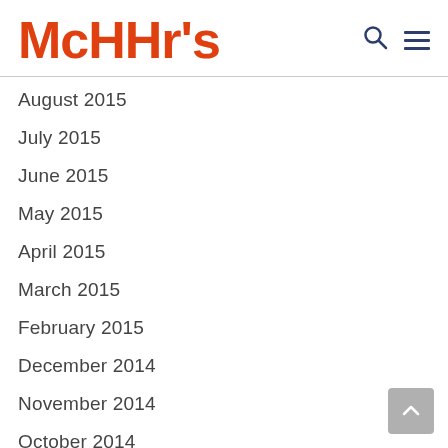[Figure (logo): McHHr's orange bubbly logo with search and hamburger menu icons]
August 2015
July 2015
June 2015
May 2015
April 2015
March 2015
February 2015
December 2014
November 2014
October 2014
September 2014
June 2014